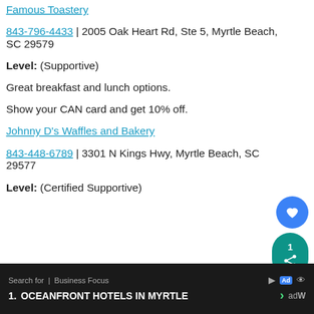Famous Toastery
843-796-4433 | 2005 Oak Heart Rd, Ste 5, Myrtle Beach, SC 29579
Level: (Supportive)
Great breakfast and lunch options.
Show your CAN card and get 10% off.
Johnny D's Waffles and Bakery
843-448-6789 | 3301 N Kings Hwy, Myrtle Beach, SC 29577
Level: (Certified Supportive)
Search for | Business Focus  1. OCEANFRONT HOTELS IN MYRTLE  Ad